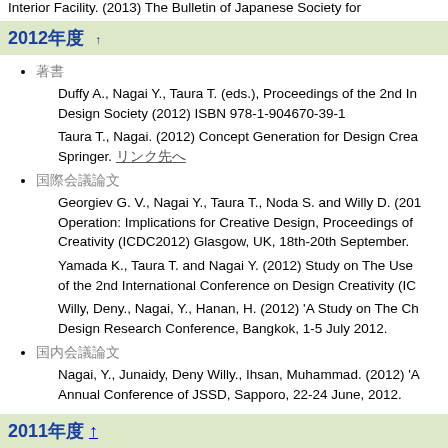Interior Facility. (2013) The Bulletin of Japanese Society for
2012年度 ↑
著書
Duffy A., Nagai Y., Taura T. (eds.), Proceedings of the 2nd In... Design Society (2012) ISBN 978-1-904670-39-1
Taura T., Nagai. (2012) Concept Generation for Design Crea... Springer. リンク先へ
国際会議論文
Georgiev G. V., Nagai Y., Taura T., Noda S. and Willy D. (201... Operation: Implications for Creative Design, Proceedings of... Creativity (ICDC2012) Glasgow, UK, 18th-20th September.
Yamada K., Taura T. and Nagai Y. (2012) Study on The Use... of the 2nd International Conference on Design Creativity (IC...
Willy, Deny., Nagai, Y., Hanan, H. (2012) 'A Study on The Ch... Design Research Conference, Bangkok, 1-5 July 2012.
国内会議論文
Nagai, Y., Junaidy, Deny Willy., Ihsan, Muhammad. (2012) 'A... Annual Conference of JSSD, Sapporo, 22-24 June, 2012.
2011年度 ↑